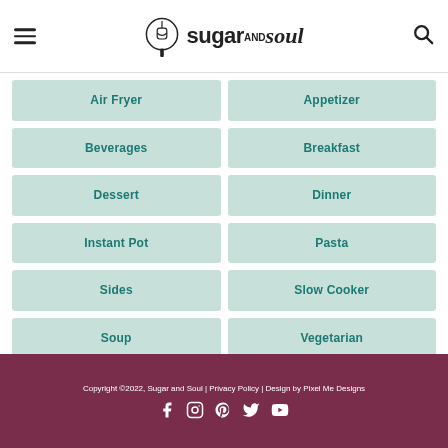Sugar and Soul
Air Fryer
Appetizer
Beverages
Breakfast
Dessert
Dinner
Instant Pot
Pasta
Sides
Slow Cooker
Soup
Vegetarian
Copyright ©2022, Sugar and Soul | Privacy Policy | Design by Pixel Me Designs